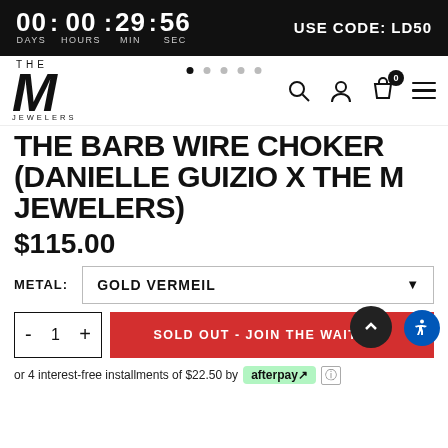00 : 00 : 29 : 56  DAYS HOURS MIN SEC   USE CODE: LD50
[Figure (logo): THE M JEWELERS logo with large italic M]
THE BARB WIRE CHOKER (DANIELLE GUIZIO X THE M JEWELERS)
$115.00
METAL:   GOLD VERMEIL
- 1 +   SOLD OUT - JOIN THE WAITLIST
or 4 interest-free installments of $22.50 by afterpay